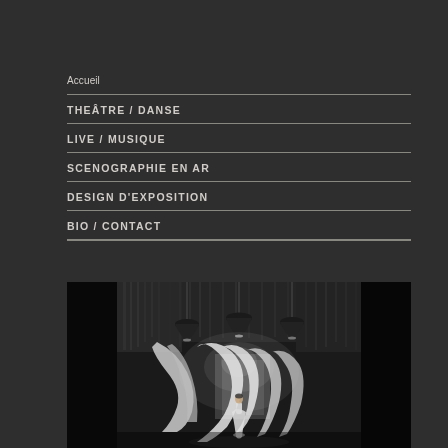Accueil
THEÂTRE / DANSE
LIVE / MUSIQUE
SCENOGRAPHIE EN AR
DESIGN D'EXPOSITION
BIO / CONTACT
[Figure (photo): Black and white theatrical stage photo showing a performer in white dress standing beneath hanging pendant lamps with draped white curtains on a dark stage]